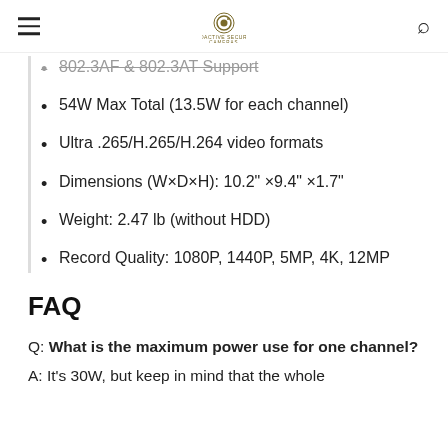Proactive Security Cameras
802.3AF & 802.3AT Support
54W Max Total (13.5W for each channel)
Ultra .265/H.265/H.264 video formats
Dimensions (W×D×H): 10.2" ×9.4" ×1.7"
Weight: 2.47 lb (without HDD)
Record Quality: 1080P, 1440P, 5MP, 4K, 12MP
FAQ
Q: What is the maximum power use for one channel?
A: It's 30W, but keep in mind that the whole